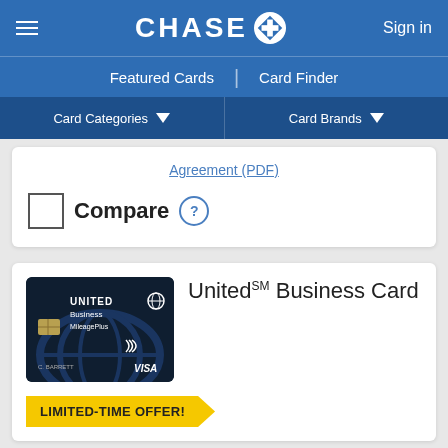CHASE — Sign in
Featured Cards | Card Finder
Card Categories ▾   Card Brands ▾
Agreement (PDF)
Compare ?
United℠ Business Card
LIMITED-TIME OFFER!